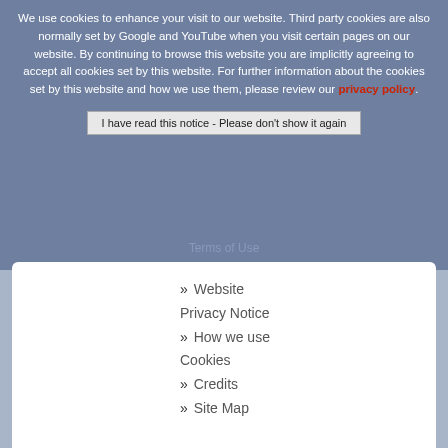We use cookies to enhance your visit to our website. Third party cookies are also normally set by Google and YouTube when you visit certain pages on our website. By continuing to browse this website you are implicitly agreeing to accept all cookies set by this website. For further information about the cookies set by this website and how we use them, please review our privacy policy.
I have read this notice - Please don't show it again
Terms of Use
» Website Privacy Notice
» How we use Cookies
» Credits
» Site Map